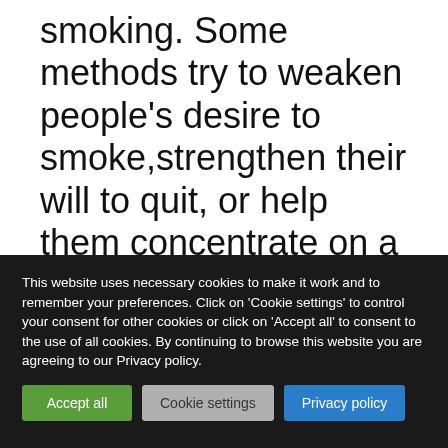smoking. Some methods try to weaken people's desire to smoke,strengthen their will to quit, or help them concentrate on a quit programme. The review of trials did not find enough good evidence to show
This website uses necessary cookies to make it work and to remember your preferences. Click on 'Cookie settings' to control your consent for other cookies or click on 'Accept all' to consent to the use of all cookies. By continuing to browse this website you are agreeing to our Privacy policy.